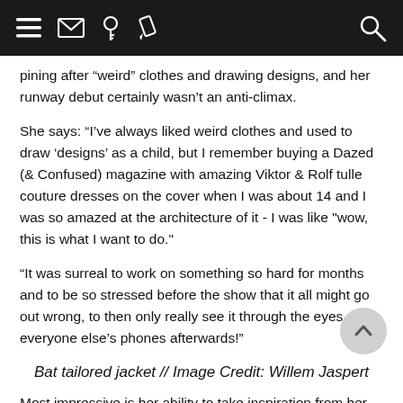[Navigation bar with hamburger menu, mail, key, pencil icons and search icon]
pining after “weird” clothes and drawing designs, and her runway debut certainly wasn’t an anti-climax.
She says: “I’ve always liked weird clothes and used to draw ‘designs’ as a child, but I remember buying a Dazed (& Confused) magazine with amazing Viktor & Rolf tulle couture dresses on the cover when I was about 14 and I was so amazed at the architecture of it - I was like "wow, this is what I want to do."
“It was surreal to work on something so hard for months and to be so stressed before the show that it all might go out wrong, to then only really see it through the eyes of everyone else’s phones afterwards!”
Bat tailored jacket // Image Credit: Willem Jaspert
Most impressive is her ability to take inspiration from her idols and draw upon her own knowledge and experience without becoming a